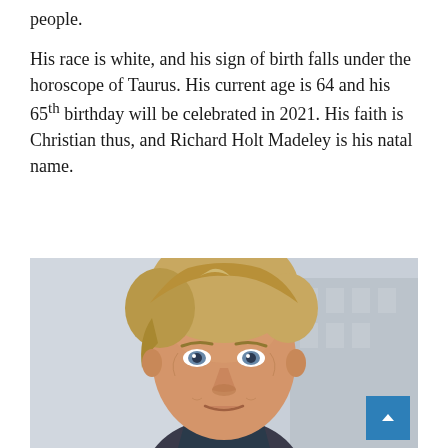people.
His race is white, and his sign of birth falls under the horoscope of Taurus. His current age is 64 and his 65th birthday will be celebrated in 2021. His faith is Christian thus, and Richard Holt Madeley is his natal name.
[Figure (photo): Portrait photo of Richard Madeley, a middle-aged white man with blonde/grey hair, blue eyes, wearing a dark suit, photographed outdoors with a blurred architectural background. A blue scroll-to-top button appears in the bottom right corner of the image.]